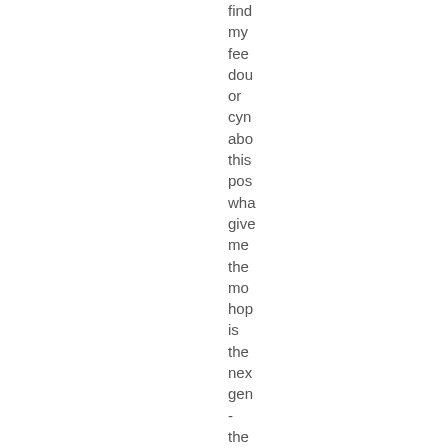find my fee dou or cym abo this pos wha give me the mo hop is the nex gen - the you por